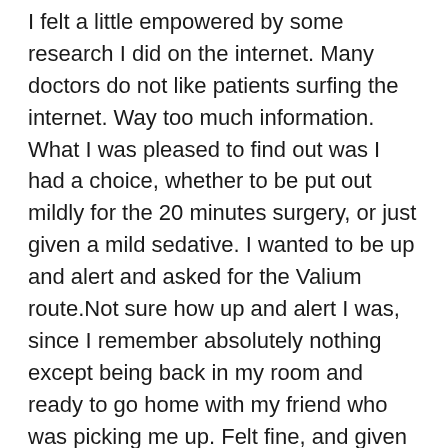I felt a little empowered by some research I did on the internet. Many doctors do not like patients surfing the internet. Way too much information. What I was pleased to find out was I had a choice, whether to be put out mildly for the 20 minutes surgery, or just given a mild sedative. I wanted to be up and alert and asked for the Valium route.Not sure how up and alert I was, since I remember absolutely nothing except being back in my room and ready to go home with my friend who was picking me up. Felt fine, and given papers and booklets with instructions and all the what if's. Fortunately none of the what if's happened. No weights, no standing on my head, and no eye makeup for ten days. I didn't realize the healing process takes about a month. Had check up appointment the next day and all went well. I do see improvements and will have the next one done in two weeks.